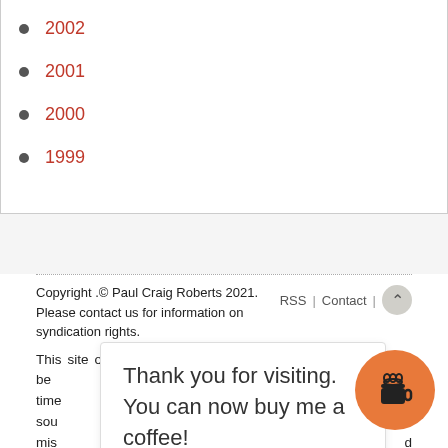2002
2001
2000
1999
Copyright .© Paul Craig Roberts 2021. Please contact us for information on syndication rights. RSS | Contact | This site offers factual information and viewpoints that might be [partial] events of our time [partial] from reliable sources [partial] to be [partial] of misinformation [partial] s [partial] d positions [partial] endorse the statements of any contributor.
Thank you for visiting. You can now buy me a coffee!